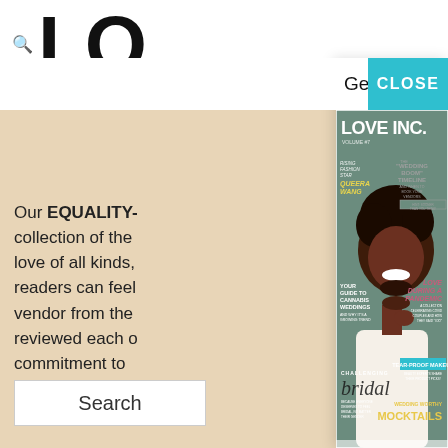LO... (logo partial, cropped)
Our EQUALITY- collection of the love of all kinds, readers can feel vendor from the reviewed each commitment to sex couples.
Search
Get Our Latest Issue
CLOSE
[Figure (photo): LOVE INC. magazine cover featuring a smiling Black man in a white top. Cover lines include: RISING FASHION STAR QUEERA WANG, THE "WEDDING BOOM" TIMELINE AND WHEN TO BOOK YOUR VENDORS (HINT: SOONER THAN YOU THINK!), YOUR GUIDE TO CANNABIS WEDDINGS AND WHY IT'S A GROWING TREND, LOVE DURING A PANDEMIC A COLLECTION CELEBRATING COVID COUPLES AND HOW THEY SAID "I DO", CHALLENGING bridal BECAUSE EVERYONE DESERVES TO FEEL BRIDAL, NO MATTER THEIR GENDER, TEAR-PROOF MAKEUP BEAUTY EXPERTS SHARE THEIR PRODUCT PICKS!, WEDDING WORTHY MOCKTAILS. Volume #7.]